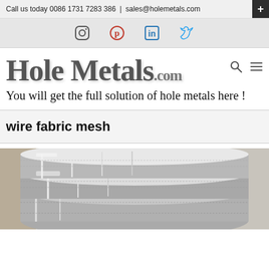Call us today 0086 1731 7283 386 | sales@holemetals.com
[Figure (other): Social media icons bar: Instagram, Pinterest, LinkedIn, Twitter]
Hole Metals.com
You will get the full solution of hole metals here !
wire fabric mesh
[Figure (photo): Close-up photo of metallic wire fabric mesh / woven wire material, silver tones]